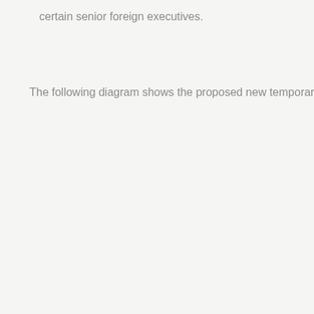certain senior foreign executives.
The following diagram shows the proposed new temporary activity visa framework in more detail.